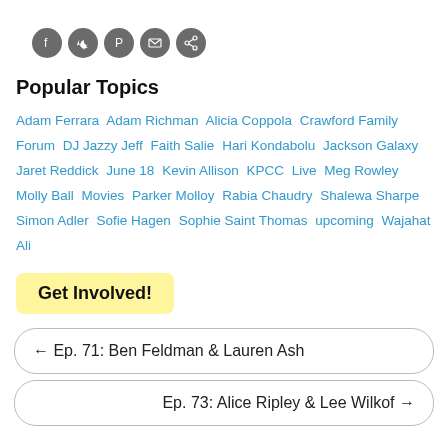[Figure (other): Five social media icon circles (Facebook, Twitter, Pinterest, Email, Share) in dark gray]
Popular Topics
Adam Ferrara  Adam Richman  Alicia Coppola  Crawford Family Forum  DJ Jazzy Jeff  Faith Salie  Hari Kondabolu  Jackson Galaxy  Jaret Reddick  June 18  Kevin Allison  KPCC  Live  Meg Rowley  Molly Ball  Movies  Parker Molloy  Rabia Chaudry  Shalewa Sharpe  Simon Adler  Sofie Hagen  Sophie Saint Thomas  upcoming  Wajahat Ali
Get Involved!
← Ep. 71: Ben Feldman & Lauren Ash
Ep. 73: Alice Ripley & Lee Wilkof →